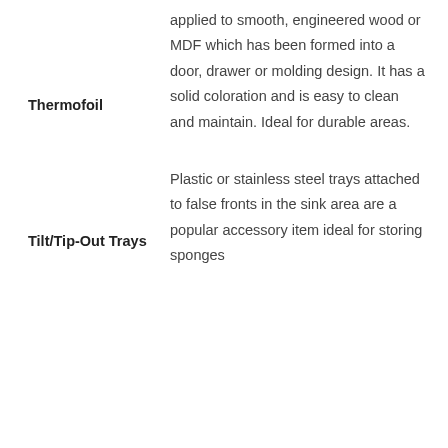Thermofoil
applied to smooth, engineered wood or MDF which has been formed into a door, drawer or molding design. It has a solid coloration and is easy to clean and maintain. Ideal for durable areas.
Tilt/Tip-Out Trays
Plastic or stainless steel trays attached to false fronts in the sink area are a popular accessory item ideal for storing sponges